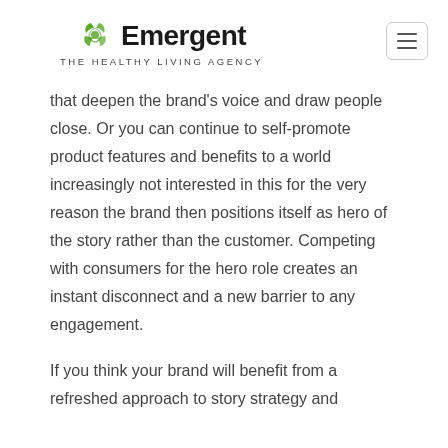Emergent THE HEALTHY LIVING AGENCY
that deepen the brand's voice and draw people close. Or you can continue to self-promote product features and benefits to a world increasingly not interested in this for the very reason the brand then positions itself as hero of the story rather than the customer. Competing with consumers for the hero role creates an instant disconnect and a new barrier to any engagement.
If you think your brand will benefit from a refreshed approach to story strategy and